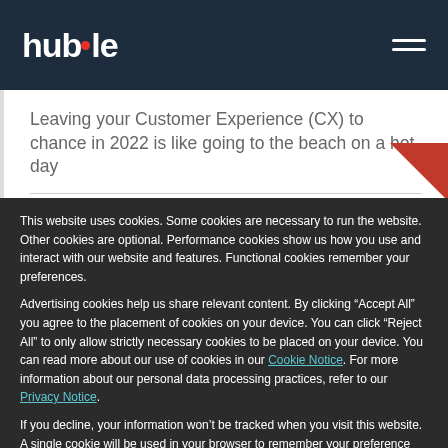huble
Leaving your Customer Experience (CX) to chance in 2022 is like going to the beach on a hot day
This website uses cookies. Some cookies are necessary to run the website. Other cookies are optional. Performance cookies show us how you use and interact with our website and features. Functional cookies remember your preferences.
Advertising cookies help us share relevant content. By clicking “Accept All” you agree to the placement of cookies on your device. You can click “Reject All” to only allow strictly necessary cookies to be placed on your device. You can read more about our use of cookies in our Cookie Notice. For more information about our personal data processing practices, refer to our Privacy Notice.
If you decline, your information won’t be tracked when you visit this website. A single cookie will be used in your browser to remember your preference not to be tracked.
Cookies settings
Accept All
Decline All